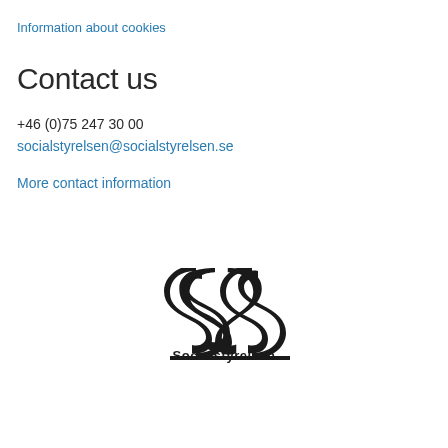Information about cookies
Contact us
+46 (0)75 247 30 00
socialstyrelsen@socialstyrelsen.se
More contact information
[Figure (logo): Socialstyrelsen logo: stylized interlocked S shapes above the word Socialstyrelsen in bold serif font]